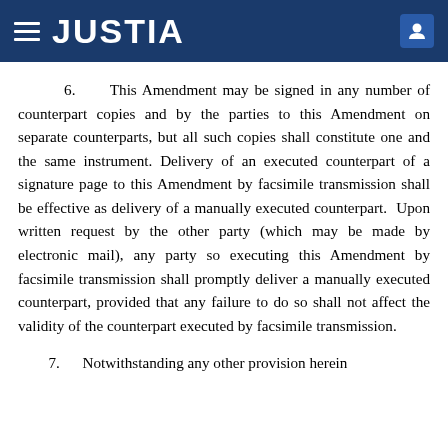JUSTIA
6.          This Amendment may be signed in any number of counterpart copies and by the parties to this Amendment on separate counterparts, but all such copies shall constitute one and the same instrument. Delivery of an executed counterpart of a signature page to this Amendment by facsimile transmission shall be effective as delivery of a manually executed counterpart.  Upon written request by the other party (which may be made by electronic mail), any party so executing this Amendment by facsimile transmission shall promptly deliver a manually executed counterpart, provided that any failure to do so shall not affect the validity of the counterpart executed by facsimile transmission.
7.          Notwithstanding any other provision herein